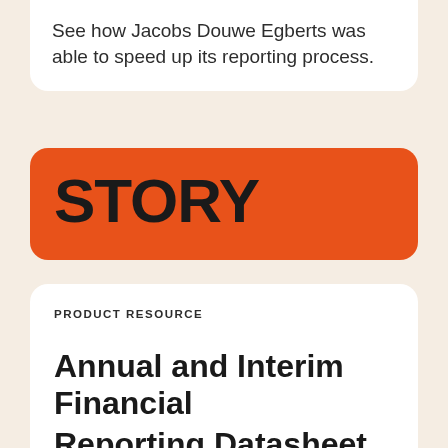See how Jacobs Douwe Egberts was able to speed up its reporting process.
STORY
PRODUCT RESOURCE
Annual and Interim Financial Reporting Datasheet
See how you can tell the story of your business and future success through